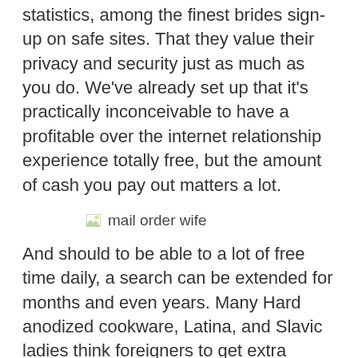statistics, among the finest brides sign-up on safe sites. That they value their privacy and security just as much as you do. We've already set up that it's practically inconceivable to have a profitable over the internet relationship experience totally free, but the amount of cash you pay out matters a lot.
[Figure (photo): Broken image placeholder labeled 'mail order wife']
And should to be able to a lot of free time daily, a search can be extended for months and even years. Many Hard anodized cookware, Latina, and Slavic ladies think foreigners to get extra getting and suitable for serious relationships than native men. So , they're on the lookout for partners they are going to always be keen on.
Ethical Points In Courting Foreign Mail Order Brides